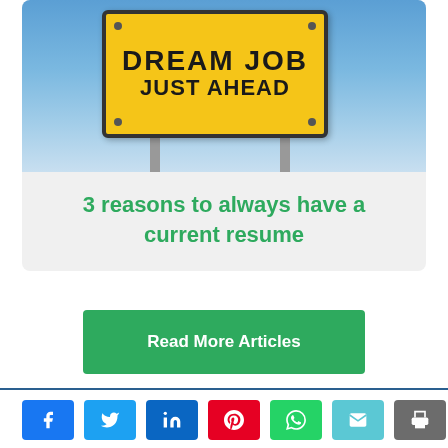[Figure (photo): Yellow road sign reading 'DREAM JOB JUST AHEAD' against blue sky background]
3 reasons to always have a current resume
Read More Articles
Social share buttons: Facebook, Twitter, LinkedIn, Pinterest, WhatsApp, Email, Print